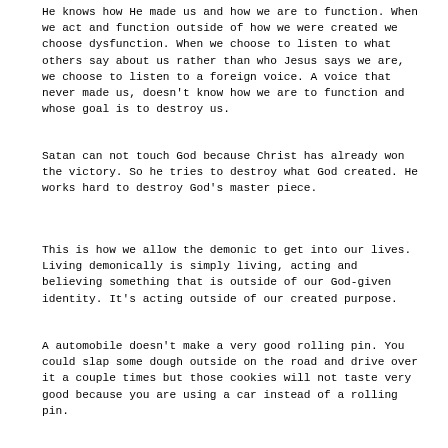He knows how He made us and how we are to function. When we act and function outside of how we were created we choose dysfunction. When we choose to listen to what others say about us rather than who Jesus says we are, we choose to listen to a foreign voice. A voice that never made us, doesn't know how we are to function and whose goal is to destroy us.
Satan can not touch God because Christ has already won the victory. So he tries to destroy what God created. He works hard to destroy God's master piece.
This is how we allow the demonic to get into our lives. Living demonically is simply living, acting and believing something that is outside of our God-given identity. It's acting outside of our created purpose.
A automobile doesn't make a very good rolling pin. You could slap some dough outside on the road and drive over it a couple times but those cookies will not taste very good because you are using a car instead of a rolling pin.